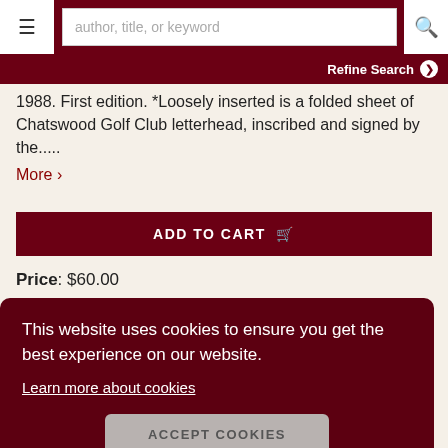≡  author, title, or keyword  🔍
Refine Search ❯
1988. First edition. *Loosely inserted is a folded sheet of Chatswood Golf Club letterhead, inscribed and signed by the.....
More >
ADD TO CART 🛒
Price: $60.00
This website uses cookies to ensure you get the best experience on our website.
Learn more about cookies
ACCEPT COOKIES
Club
THE SAINT ON THE MOVE 1990.